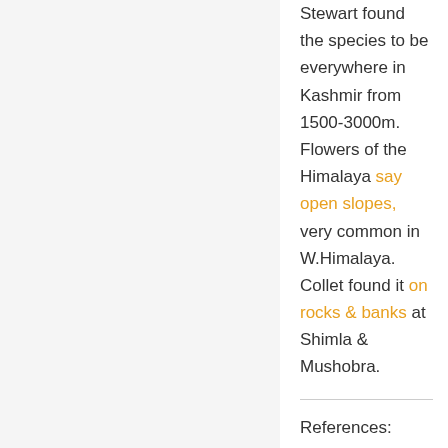Stewart found the species to be everywhere in Kashmir from 1500-3000m. Flowers of the Himalaya say open slopes, very common in W.Himalaya. Collet found it on rocks & banks at Shimla & Mushobra.
References: http://www.theplantlist.c 2637738